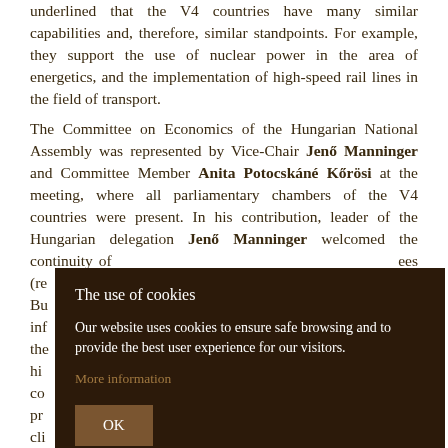underlined that the V4 countries have many similar capabilities and, therefore, similar standpoints. For example, they support the use of nuclear power in the area of energetics, and the implementation of high-speed rail lines in the field of transport. The Committee on Economics of the Hungarian National Assembly was represented by Vice-Chair Jenő Manninger and Committee Member Anita Potocskáné Kőrösi at the meeting, where all parliamentary chambers of the V4 countries were present. In his contribution, leader of the Hungarian delegation Jenő Manninger welcomed the continuity of ... ees (re... in Bu... ort inf... of the... hat hi... ng co... nic pr... the cli... ble fin... is
The use of cookies

Our website uses cookies to ensure safe browsing and to provide the best user experience for our visitors.

More information

OK